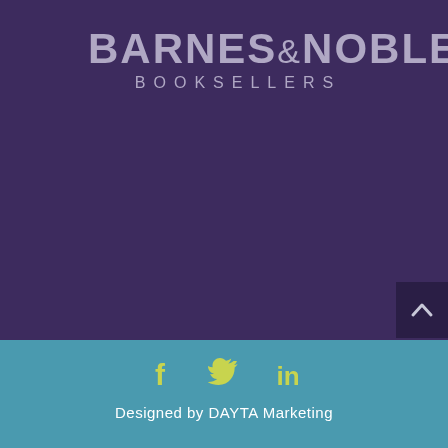[Figure (logo): Barnes & Noble Booksellers logo in light purple/lavender text on dark purple background]
[Figure (illustration): Scroll-to-top button with upward chevron arrow on dark purple background, positioned at bottom right of main section]
[Figure (infographic): Social media icons: Facebook (f), Twitter (bird), LinkedIn (in) in yellow-green on teal background]
Designed by DAYTA Marketing